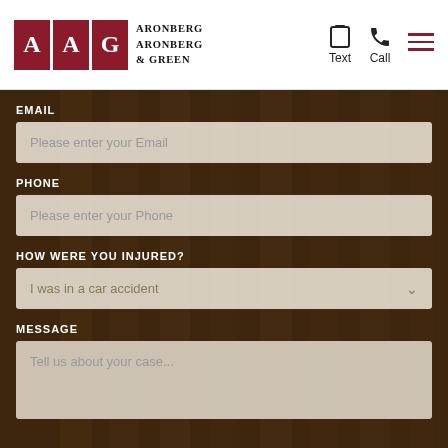[Figure (logo): Aronberg Aronberg & Green law firm logo with AAG initials in red squares and firm name in serif text]
EMAIL
Please enter your Email
PHONE
Please enter your Phone
HOW WERE YOU INJURED?
I was in a car accident
MESSAGE
Tell us about your case...